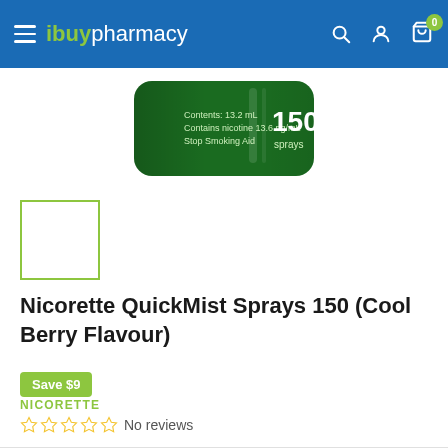ibuypharmacy
[Figure (photo): Nicorette QuickMist spray product image showing green packaging with '150 sprays', 'Contains nicotine 13.6 ng/mL', 'Stop Smoking Aid' text]
[Figure (photo): Small thumbnail image of the product (green outlined selection box)]
Nicorette QuickMist Sprays 150 (Cool Berry Flavour)
Save $9
NICORETTE
No reviews